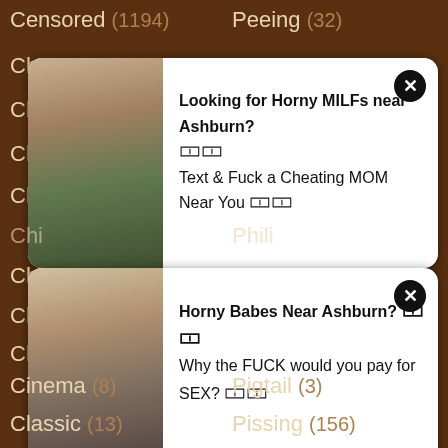Censored (1194)
Peeing (32)
[Figure (other): Ad popup card with photo of woman, text: Looking for Horny MILFs near Ashburn? Text & Fuck a Cheating MOM Near You]
[Figure (other): Ad popup card with photo of woman, text: Horny Babes Near Ashburn? Why the FUCK would you pay for SEX?]
Cinema (8)
Pigtail (3)
Classic (13)
Pissing (156)
Cleaning (11)
Plump (19)
Clit (66)
Plumper (6)
Close (712)
Pool (26)
Club (87)
Pornstar (542)
Cock (1919)
Pregnant (77)
Coed (20)
Pretty (76)